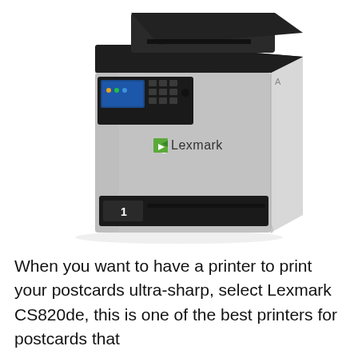[Figure (photo): Photo of a Lexmark CS820de color laser printer, shown from a slight angle. The printer is light gray with a dark/black top section featuring a control panel with a small display and buttons. The front has a paper tray labeled '1'. The Lexmark logo with green arrow icon and 'Lexmark' text is visible on the front face.]
When you want to have a printer to print your postcards ultra-sharp, select Lexmark CS820de, this is one of the best printers for postcards that